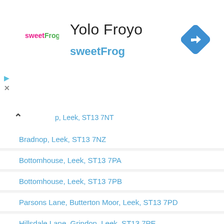Yolo Froyo
sweetFrog
[Figure (logo): sweetFrog brand logo in pink/green text]
[Figure (other): Blue diamond turn-right navigation icon]
p, Leek, ST13 7NT (partial, cut off)
Bradnop, Leek, ST13 7NZ
Bottomhouse, Leek, ST13 7PA
Bottomhouse, Leek, ST13 7PB
Parsons Lane, Butterton Moor, Leek, ST13 7PD
Hillsdale Lane, Grindon, Leek, ST13 7PE
Pethills Lane, Bottomhouse, Leek, ST13 7PF
Pethills Lane, Winkhill, Leek, ST13 7PG
Bottomhouse, Leek, ST13 7PH
Back Lane, Bottomhouse, Leek, ST13 7PJ
Bottomhouse, Leek, ST13 7PL
Winkhill, Leek, ST13 7PN